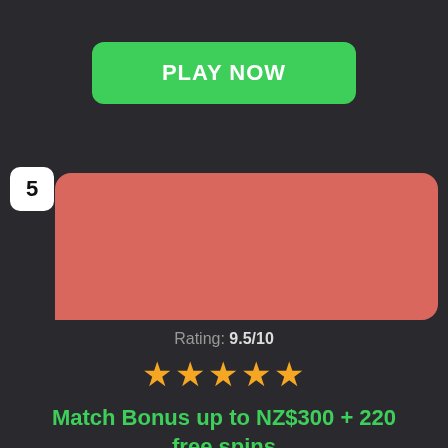[Figure (screenshot): Green 'PLAY NOW' button with rounded corners on dark background]
5
[Figure (illustration): Red/salmon colored card area with number 5 badge, representing casino listing item 5]
Rating: 9.5/10
[Figure (other): Five gold star rating icons]
Match Bonus up to NZ$300 + 220 free spins